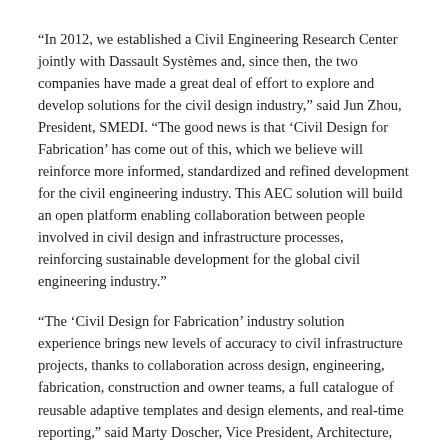“In 2012, we established a Civil Engineering Research Center jointly with Dassault Systèmes and, since then, the two companies have made a great deal of effort to explore and develop solutions for the civil design industry,” said Jun Zhou, President, SMEDI. “The good news is that ‘Civil Design for Fabrication’ has come out of this, which we believe will reinforce more informed, standardized and refined development for the civil engineering industry. This AEC solution will build an open platform enabling collaboration between people involved in civil design and infrastructure processes, reinforcing sustainable development for the global civil engineering industry.”
“The ‘Civil Design for Fabrication’ industry solution experience brings new levels of accuracy to civil infrastructure projects, thanks to collaboration across design, engineering, fabrication, construction and owner teams, a full catalogue of reusable adaptive templates and design elements, and real-time reporting,” said Marty Doscher, Vice President, Architecture, Engineering & Construction Industry, Dassault Systèmes. “With our long-standing partnership with SMEDI, we are able to provide an end-to-end solution from design to construction that helps meet the current and future infrastructure needs of a global population.”
Specifically, “Civil Design for Fabrication” solves several of the business challenges facing the large infrastructure...